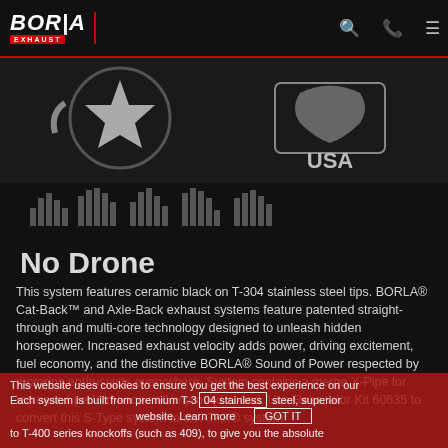BORLA EXHAUST
[Figure (logo): Borla Exhaust website screenshot showing header with logo, search icon, phone icon, hamburger menu. Middle section shows a circular star logo on left and USA eagle badge on right. No Drone equalizer graphic with bars above 'No Drone' text.]
This system features ceramic black on T-304 stainless steel tips. BORLA® Cat-Back™ and Axle-Back exhaust systems feature patented straight-through and multi-core technology designed to unleash hidden horsepower. Increased exhaust velocity adds power, driving excitement, fuel economy, and the distinctive BORLA® Sound of Power respected by motoring enthusiasts everywhere. System contains a merge X-Pipe for increased performance and improved sound. Use Resonator Kit 60635 to convert this S-Type system to an ATAK® system.
This website uses cookies to ensure you get the best experience on our Each system is built from premium T-304 stainless steel, superior website. Learn more    GOT IT to T-400 series knockoffs (such as 409), to give you the absolute